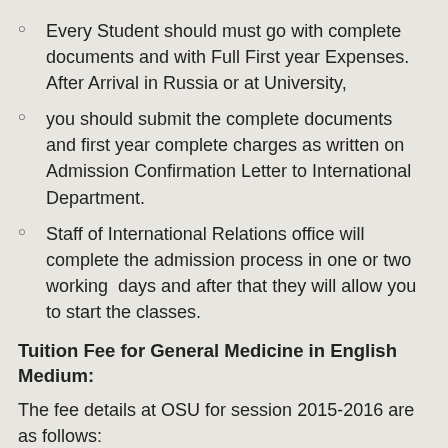Every Student should must go with complete documents and with Full First year Expenses. After Arrival in Russia or at University,
you should submit the complete documents and first year complete charges as written on Admission Confirmation Letter to International Department.
Staff of International Relations office will complete the admission process in one or two working  days and after that they will allow you to start the classes.
Tuition Fee for General Medicine in English Medium:
The fee details at OSU for session 2015-2016 are as follows: